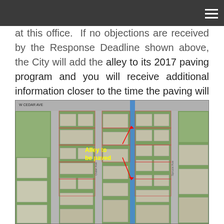at this office. If no objections are received by the Response Deadline shown above, the City will add the alley to its 2017 paving program and you will receive additional information closer to the time the paving will begin.
[Figure (map): Aerial map showing neighborhood blocks with a blue vertical stripe indicating the alley to be paved, labeled with yellow text 'Alley to be paved' and red arrows pointing to the alley location. Streets visible include W Cedar Ave and side streets.]